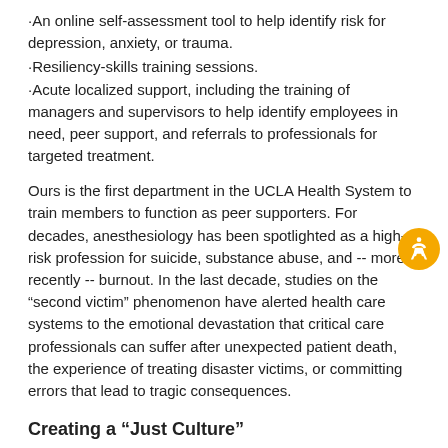·An online self-assessment tool to help identify risk for depression, anxiety, or trauma.
·Resiliency-skills training sessions.
·Acute localized support, including the training of managers and supervisors to help identify employees in need, peer support, and referrals to professionals for targeted treatment.
Ours is the first department in the UCLA Health System to train members to function as peer supporters. For decades, anesthesiology has been spotlighted as a high-risk profession for suicide, substance abuse, and -- more recently -- burnout. In the last decade, studies on the “second victim” phenomenon have alerted health care systems to the emotional devastation that critical care professionals can suffer after unexpected patient death, the experience of treating disaster victims, or committing errors that lead to tragic consequences.
Creating a “Just Culture”